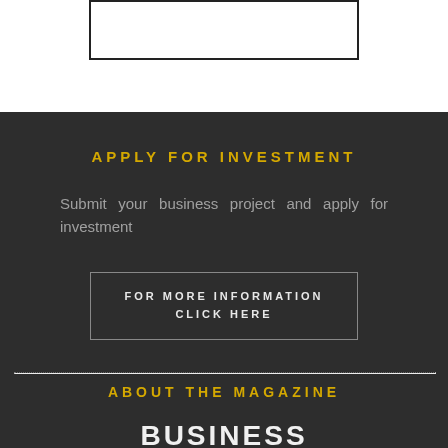[Figure (other): A rectangular outlined box/frame at top of page, white background]
APPLY FOR INVESTMENT
Submit your business project and apply for investment
FOR MORE INFORMATION CLICK HERE
ABOUT THE MAGAZINE
BUSINESS